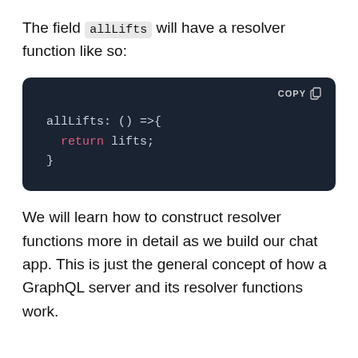The field allLifts will have a resolver function like so:
[Figure (screenshot): Dark code block showing: allLifts: () =>{ return lifts; } with a COPY button in the top right corner. Dark navy background with light colored code text and 'return' keyword highlighted in pink/red.]
We will learn how to construct resolver functions more in detail as we build our chat app. This is just the general concept of how a GraphQL server and its resolver functions work.